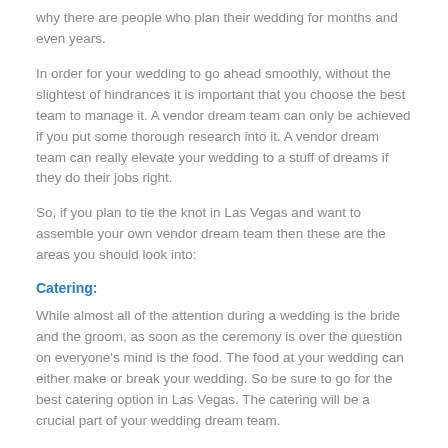why there are people who plan their wedding for months and even years.
In order for your wedding to go ahead smoothly, without the slightest of hindrances it is important that you choose the best team to manage it. A vendor dream team can only be achieved if you put some thorough research into it. A vendor dream team can really elevate your wedding to a stuff of dreams if they do their jobs right.
So, if you plan to tie the knot in Las Vegas and want to assemble your own vendor dream team then these are the areas you should look into:
Catering:
While almost all of the attention during a wedding is the bride and the groom, as soon as the ceremony is over the question on everyone's mind is the food. The food at your wedding can either make or break your wedding. So be sure to go for the best catering option in Las Vegas. The catering will be a crucial part of your wedding dream team.